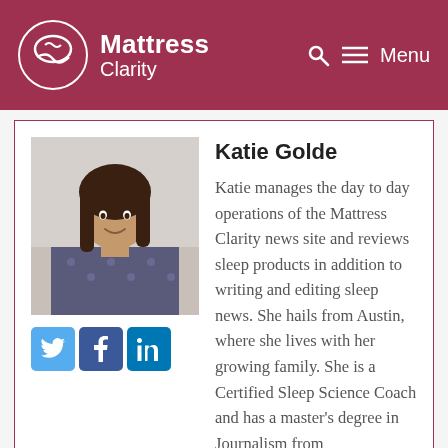Mattress Clarity — Menu
[Figure (photo): Headshot photo of Katie Golde, a woman with dark hair, smiling, wearing a patterned top]
Katie Golde
Katie manages the day to day operations of the Mattress Clarity news site and reviews sleep products in addition to writing and editing sleep news. She hails from Austin, where she lives with her growing family. She is a Certified Sleep Science Coach and has a master's degree in Journalism from Northwestern University and has a background in health